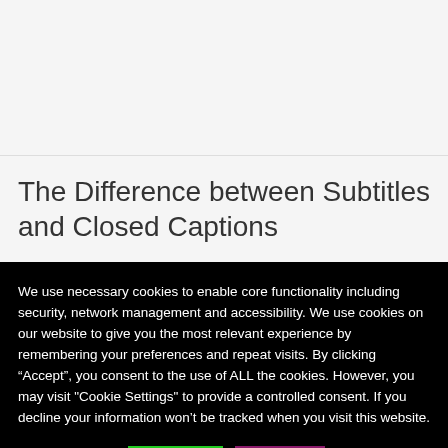The Difference between Subtitles and Closed Captions
We use necessary cookies to enable core functionality including security, network management and accessibility. We use cookies on our website to give you the most relevant experience by remembering your preferences and repeat visits. By clicking “Accept”, you consent to the use of ALL the cookies. However, you may visit "Cookie Settings" to provide a controlled consent. If you decline your information won’t be tracked when you visit this website.
Cookie Settings | Accept | Reject